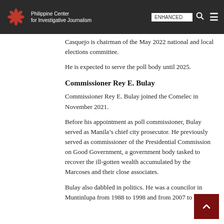Philippine Center for Investigative Journalism
Casquejo is chairman of the May 2022 national and local elections committee.
He is expected to serve the poll body until 2025.
Commissioner Rey E. Bulay
Commissioner Rey E. Bulay joined the Comelec in November 2021.
Before his appointment as poll commissioner, Bulay served as Manila’s chief city prosecutor. He previously served as commissioner of the Presidential Commission on Good Government, a government body tasked to recover the ill-gotten wealth accumulated by the Marcoses and their close associates.
Bulay also dabbled in politics. He was a councilor in Muntinlupa from 1988 to 1998 and from 2007 to 2010.